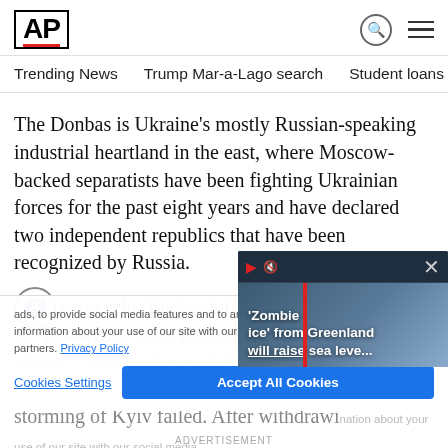[Figure (logo): AP (Associated Press) logo in black bold text with red underline]
Trending News   Trump Mar-a-Lago search   Student loans   U.S.
The Donbas is Ukraine's mostly Russian-speaking industrial heartland in the east, where Moscow-backed separatists have been fighting Ukrainian forces for the past eight years and have declared two independent republics that have been recognized by Russia.
In recent weeks, the Kremlin declared the capture of the Donbas its main goal of the war after a storming of Kyiv failed. After withdrawing, it began regrouping and reinforcing troops in the east for an all-out off
ads, to provide social media features and to analyze our traffic. We also share information about your use of our site with our social media, advertising and analytics partners. Privacy Policy
Zombie ice from Greenland will raise sea leve...
Cookies Settings
Accept All Cookies